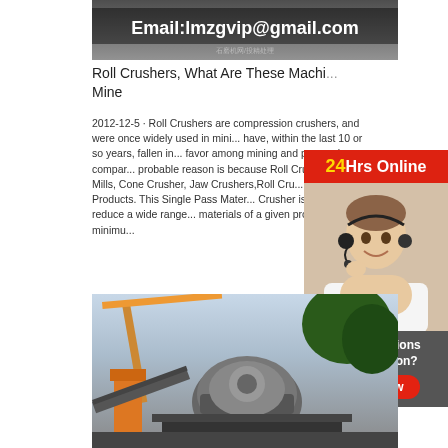[Figure (photo): Top banner image of industrial machinery with email overlay showing Email:lmzgvip@gmail.com]
Roll Crushers, What Are These Machi... Mine
2012-12-5 · Roll Crushers are compression crushers, and were once widely used in mini... have, within the last 10 or so years, fallen in... favor among mining and processing compar... probable reason is because Roll Crushers C... Mills, Cone Crusher, Jaw Crushers,Roll Cru... Lancaster Products. This Single Pass Mater... Crusher is designed to reduce a wide range... materials of a given product size to a minimu...
[Figure (infographic): 24Hrs Online sidebar widget with customer service agent wearing headset, and Chat Now button]
[Figure (photo): Industrial mining equipment photo showing crusher machinery with crane and trees in background]